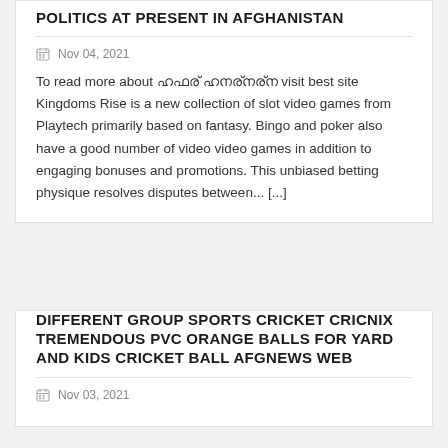POLITICS AT PRESENT IN AFGHANISTAN
Nov 04, 2021
To read more about ononon ononononon visit best site Kingdoms Rise is a new collection of slot video games from Playtech primarily based on fantasy. Bingo and poker also have a good number of video video games in addition to engaging bonuses and promotions. This unbiased betting physique resolves disputes between... [...]
DIFFERENT GROUP SPORTS CRICKET CRICNIX TREMENDOUS PVC ORANGE BALLS FOR YARD AND KIDS CRICKET BALL AFGNEWS WEB
Nov 03, 2021